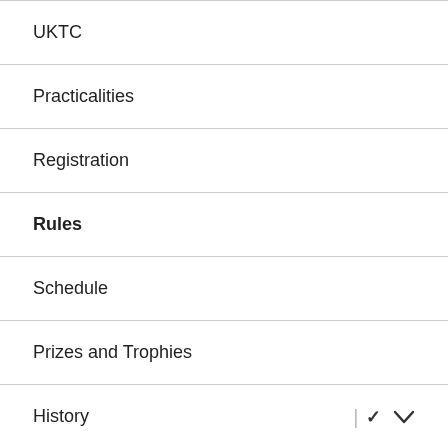UKTC
Practicalities
Registration
Rules
Schedule
Prizes and Trophies
History
Contact